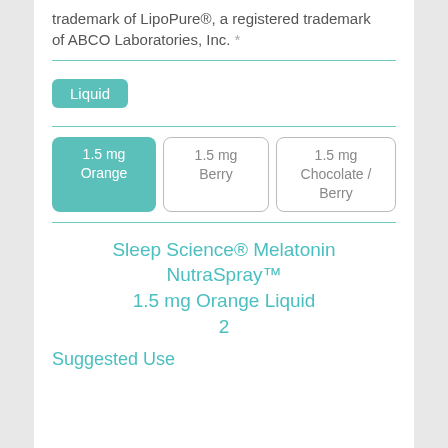trademark of LipoPure®, a registered trademark of ABCO Laboratories, Inc. *
Liquid
1.5 mg Orange | 1.5 mg Berry | 1.5 mg Chocolate / Berry
Sleep Science® Melatonin NutraSpray™ 1.5 mg Orange Liquid 2
Suggested Use